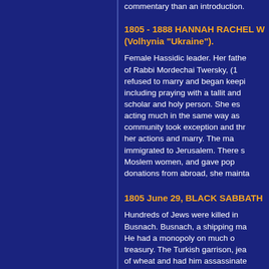commentary than an introduction.
1805 - 1888 HANNAH RACHEL W (Volhynia "Ukraine").
Female Hassidic leader. Her father of Rabbi Mordechai Twersky, (1 refused to marry and began keepi including praying with a tallit and scholar and holy person. She es acting much in the same way as community took exception and thr her actions and marry. The ma immigrated to Jerusalem. There s Moslem women, and gave pop donations from abroad, she mainta
1805 June 29, BLACK SABBATH
Hundreds of Jews were killed in Busnach. Busnach, a shipping ma He had a monopoly on much o treasury. The Turkish garrison, jea of wheat and had him assassinate